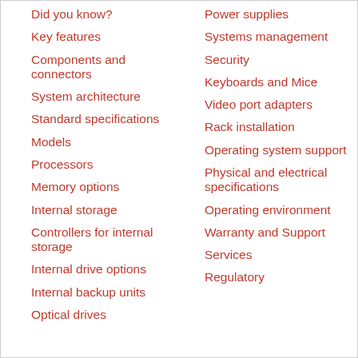Did you know?
Key features
Components and connectors
System architecture
Standard specifications
Models
Processors
Memory options
Internal storage
Controllers for internal storage
Internal drive options
Internal backup units
Optical drives
Power supplies
Systems management
Security
Keyboards and Mice
Video port adapters
Rack installation
Operating system support
Physical and electrical specifications
Operating environment
Warranty and Support
Services
Regulatory